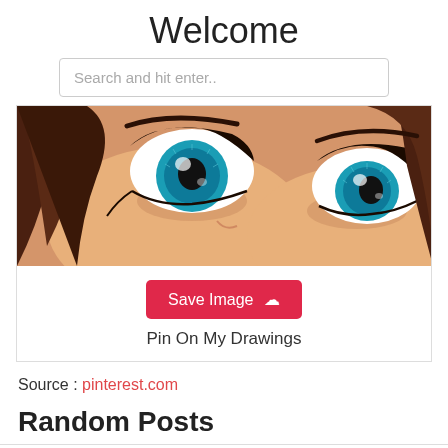Welcome
Search and hit enter..
[Figure (illustration): Close-up anime-style illustration of a character's eyes with blue irises, dark eyelashes, and brown hair framing the face against a warm skin-tone background.]
Save Image ☁
Pin On My Drawings
Source : pinterest.com
Random Posts